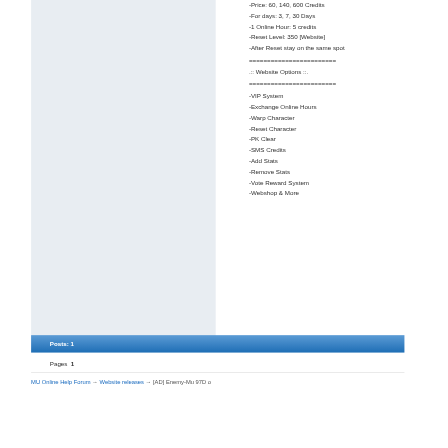-Price: 60, 140, 600 Credits
-For days: 3, 7, 30 Days
-1 Online Hour: 5 credits
-Reset Level: 350 [Website]
-After Reset stay on the same spot
========================
.::.Website Options ::.
========================
-VIP System
-Exchange Online Hours
-Warp Character
-Reset Character
-PK Clear
-SMS Credits
-Add Stats
-Remove Stats
-Vote Reward System
-Webshop & More
Posts: 1
Pages   1
MU Online Help Forum → Website releases → [AD] Enemy-Mu 97D o